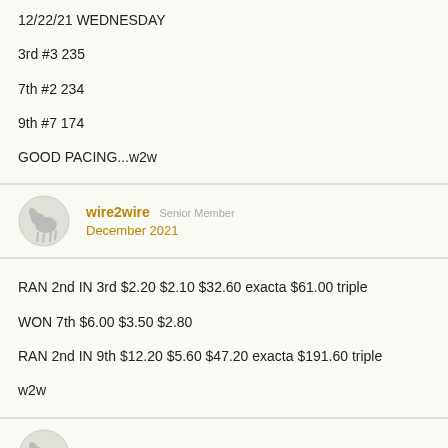12/22/21 WEDNESDAY
3rd #3 235
7th #2 234
9th #7 174
GOOD PACING...w2w
wire2wire Senior Member
December 2021
RAN 2nd IN 3rd $2.20 $2.10 $32.60 exacta $61.00 triple
WON 7th $6.00 $3.50 $2.80
RAN 2nd IN 9th $12.20 $5.60 $47.20 exacta $191.60 triple
w2w
wire2wire Senior Member